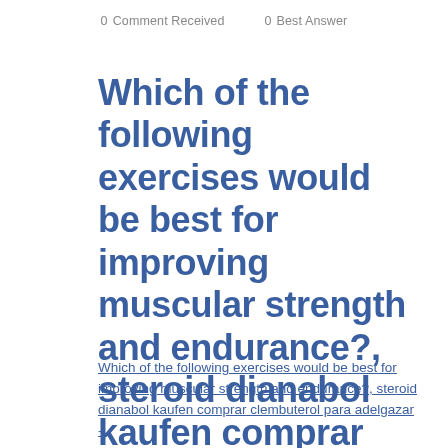0 Comment Received   0 Best Answer
Which of the following exercises would be best for improving muscular strength and endurance?, steroid dianabol kaufen comprar clembuterol para adelgazar
Which of the following exercises would be best for improving muscular strength and endurance?, steroid dianabol kaufen comprar clembuterol para adelgazar -